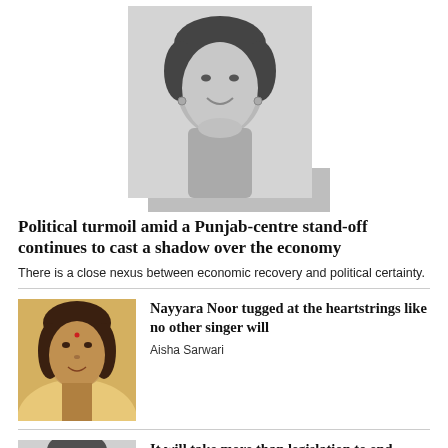[Figure (photo): Black and white portrait photo of a woman smiling, with earrings and hair pinned up, wearing a shawl]
Political turmoil amid a Punjab-centre stand-off continues to cast a shadow over the economy
There is a close nexus between economic recovery and political certainty.
[Figure (photo): Sepia/golden toned illustrated portrait of Nayyara Noor, Pakistani singer]
Nayyara Noor tugged at the heartstrings like no other singer will
Aisha Sarwari
[Figure (photo): Black and white photo of a woman, partial view at bottom of page]
It will take more than legislation to end custodial torture in Pakistan